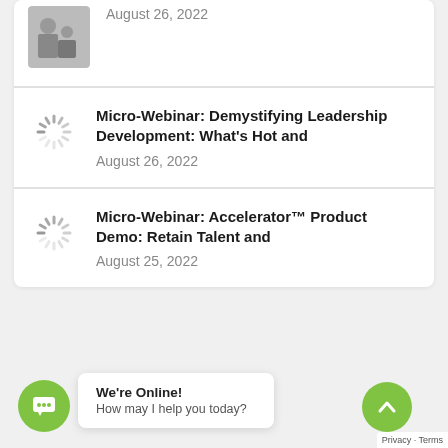[Figure (photo): Small thumbnail image of a person sitting on a chair]
August 26, 2022
[Figure (other): Loading spinner icon]
Micro-Webinar: Demystifying Leadership Development: What's Hot and
August 26, 2022
[Figure (other): Loading spinner icon]
Micro-Webinar: Accelerator™ Product Demo: Retain Talent and
August 25, 2022
[Figure (other): Chat button icon (green circle with speech bubble)]
We're Online!
How may I help you today?
[Figure (other): Scroll to top button (green circle with up arrow)]
Privacy · Terms